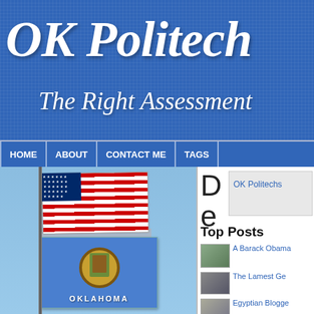OK Politech
The Right Assessment
HOME | ABOUT | CONTACT ME | TAGS
[Figure (photo): American flag and Oklahoma state flag flying together on a flagpole against a blue sky]
Der
OK Politechs
Top Posts
A Barack Obama
The Lamest Ge
Egyptian Blogge